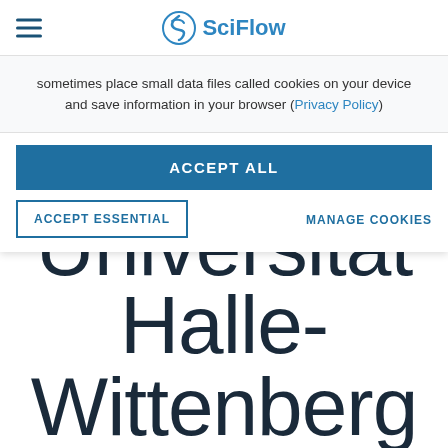SciFlow
sometimes place small data files called cookies on your device and save information in your browser (Privacy Policy)
ACCEPT ALL
ACCEPT ESSENTIAL
MANAGE COOKIES
Universität Halle-Wittenberg